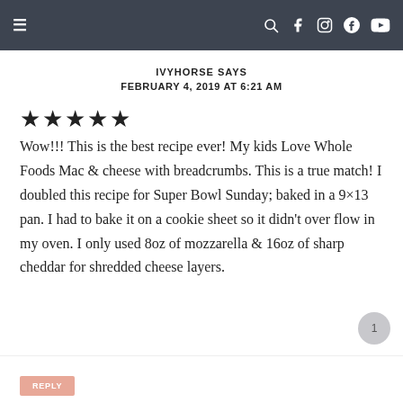≡  🔍 f 🖼 p ▶
IVYHORSE SAYS
FEBRUARY 4, 2019 AT 6:21 AM
★★★★★
Wow!!! This is the best recipe ever! My kids Love Whole Foods Mac & cheese with breadcrumbs. This is a true match! I doubled this recipe for Super Bowl Sunday; baked in a 9×13 pan. I had to bake it on a cookie sheet so it didn't over flow in my oven. I only used 8oz of mozzarella & 16oz of sharp cheddar for shredded cheese layers.